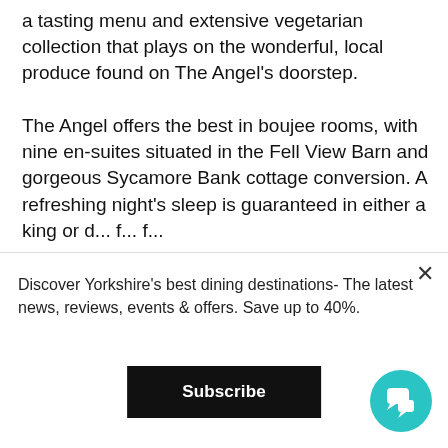a tasting menu and extensive vegetarian collection that plays on the wonderful, local produce found on The Angel's doorstep.
The Angel offers the best in boujee rooms, with nine en-suites situated in the Fell View Barn and gorgeous Sycamore Bank cottage conversion. A refreshing night's sleep is guaranteed in either a king or d... f... f...
Yorkshire Food Guide uses cookies to ensure you get the best experience on our website, by clicking 'Got it', you accept our
Discover Yorkshire's best dining destinations- The latest news, reviews, events & offers. Save up to 40%.
Subscribe